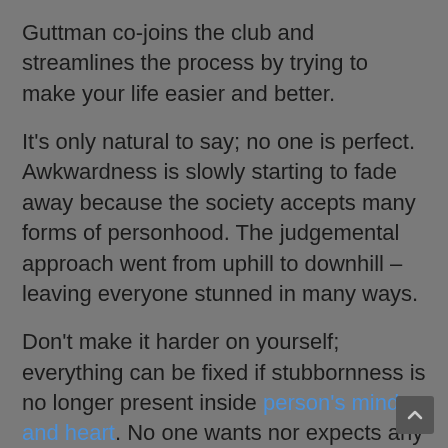Guttman co-joins the club and streamlines the process by trying to make your life easier and better.
It's only natural to say; no one is perfect. Awkwardness is slowly starting to fade away because the society accepts many forms of personhood. The judgemental approach went from uphill to downhill – leaving everyone stunned in many ways.
Don't make it harder on yourself; everything can be fixed if stubbornness is no longer present inside person's mind and heart. No one wants nor expects any miracles from you. Don't be afraid that on some level, people already are